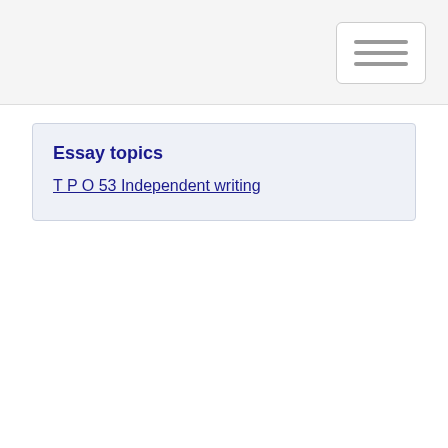Essay topics
T P O 53 Independent writing